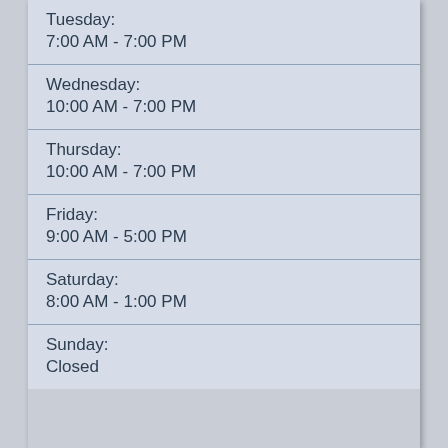Tuesday:
7:00 AM - 7:00 PM
Wednesday:
10:00 AM - 7:00 PM
Thursday:
10:00 AM - 7:00 PM
Friday:
9:00 AM - 5:00 PM
Saturday:
8:00 AM - 1:00 PM
Sunday:
Closed